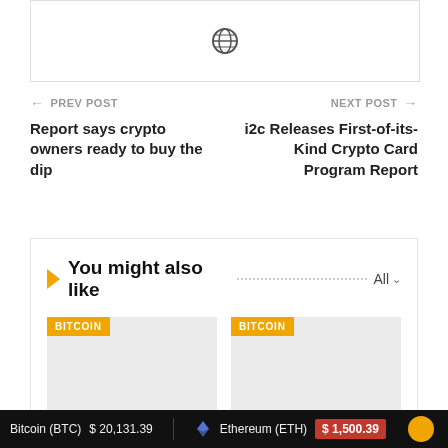[Figure (illustration): Top image placeholder with globe/world icon]
← PREV POST
Report says crypto owners ready to buy the dip
NEXT POST →
i2c Releases First-of-its-Kind Crypto Card Program Report
You might also like
[Figure (photo): Card image placeholder with BITCOIN tag label]
[Figure (photo): Card image placeholder with BITCOIN tag label]
Bitcoin (BTC)  $ 20,131.39    Ethereum (ETH)  $ 1,500.39